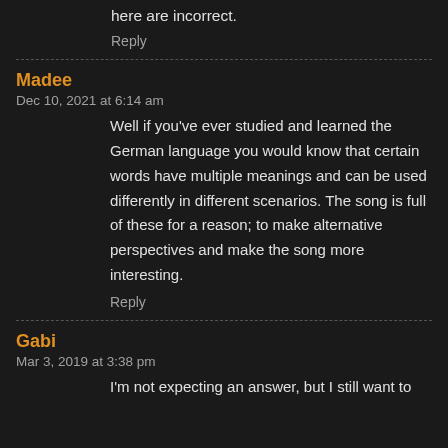here are incorrect.
Reply
Madee
Dec 10, 2021 at 6:14 am
Well if you've ever studied and learned the German language you would know that certain words have multiple meanings and can be used differently in different scenarios. The song is full of these for a reason; to make alternative perspectives and make the song more interesting.
Reply
Gabi
Mar 3, 2019 at 3:38 pm
I'm not expecting an answer, but I still want to